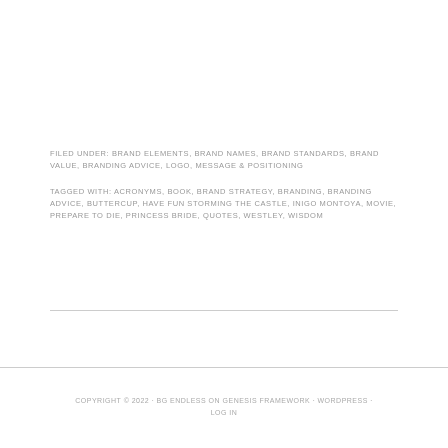FILED UNDER: BRAND ELEMENTS, BRAND NAMES, BRAND STANDARDS, BRAND VALUE, BRANDING ADVICE, LOGO, MESSAGE & POSITIONING
TAGGED WITH: ACRONYMS, BOOK, BRAND STRATEGY, BRANDING, BRANDING ADVICE, BUTTERCUP, HAVE FUN STORMING THE CASTLE, INIGO MONTOYA, MOVIE, PREPARE TO DIE, PRINCESS BRIDE, QUOTES, WESTLEY, WISDOM
COPYRIGHT © 2022 · BG ENDLESS ON GENESIS FRAMEWORK · WORDPRESS · LOG IN